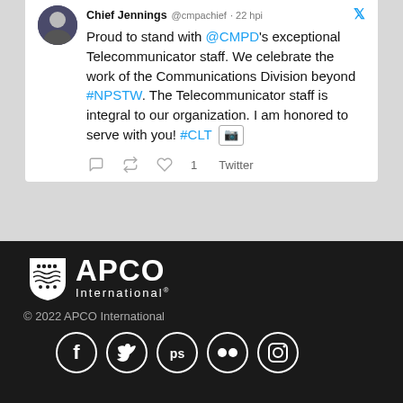Chief Jennings @cmpachief · 22 hpi — Proud to stand with @CMPD's exceptional Telecommunicator staff. We celebrate the work of the Communications Division beyond #NPSTW. The Telecommunicator staff is integral to our organization. I am honored to serve with you! #CLT [image icon]
1 Twitter
Load More...
[Figure (logo): APCO International logo — white shield with wave/people motif, bold white APCO text, International subtitle]
© 2022 APCO International
[Figure (infographic): Row of five social media icons in white circles: Facebook, Twitter, ps (PublicSafety?), Flickr, Instagram]